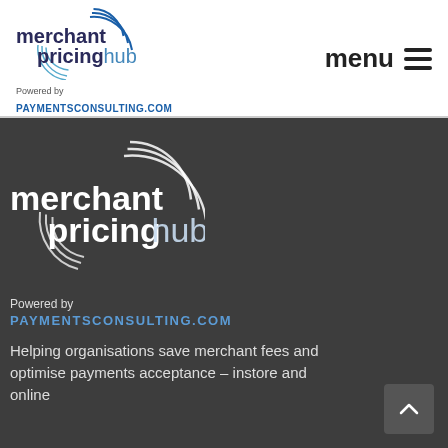[Figure (logo): Merchant Pricing Hub logo - circular wave graphic with text 'merchant pricing hub']
Powered by
PAYMENTSCONSULTING.COM
menu ≡
[Figure (logo): Merchant Pricing Hub logo large white version on dark background]
Powered by
PAYMENTSCONSULTING.COM
Helping organisations save merchant fees and optimise payments acceptance – instore and online